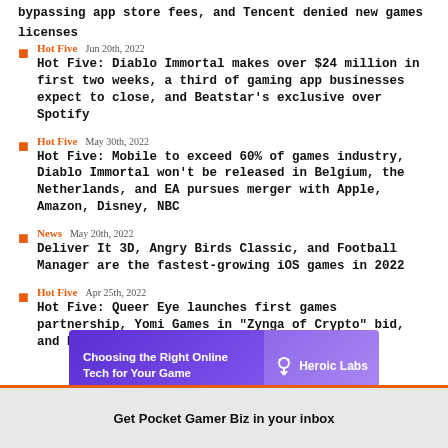bypassing app store fees, and Tencent denied new games licenses
Hot Five  Jun 20th, 2022
Hot Five: Diablo Immortal makes over $24 million in first two weeks, a third of gaming app businesses expect to close, and Beatstar's exclusive over Spotify
Hot Five  May 30th, 2022
Hot Five: Mobile to exceed 60% of games industry, Diablo Immortal won't be released in Belgium, the Netherlands, and EA pursues merger with Apple, Amazon, Disney, NBC
News  May 20th, 2022
Deliver It 3D, Angry Birds Classic, and Football Manager are the fastest-growing iOS games in 2022
Hot Five  Apr 25th, 2022
Hot Five: Queer Eye launches first games partnership, Yomi Games in "Zynga of Crypto" bid, and Rovio surpasses five billion downloads
[Figure (other): Advertisement banner for Heroic Labs: 'Choosing the Right Online Tech for Your Game' with Heroic Labs logo on purple/violet gradient background]
Get Pocket Gamer Biz in your inbox